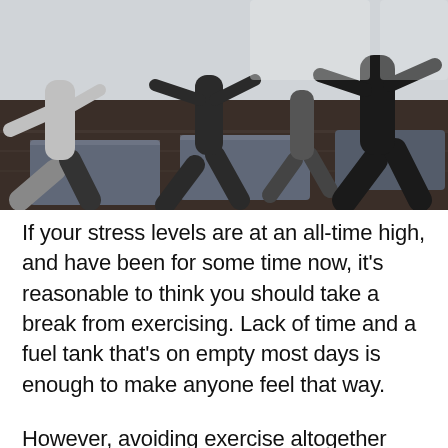[Figure (photo): Group of people doing yoga warrior pose lunges on grey mats on a dark hardwood floor in a bright studio. Multiple people barefoot in athletic wear.]
If your stress levels are at an all-time high, and have been for some time now, it's reasonable to think you should take a break from exercising. Lack of time and a fuel tank that's on empty most days is enough to make anyone feel that way.
However, avoiding exercise altogether